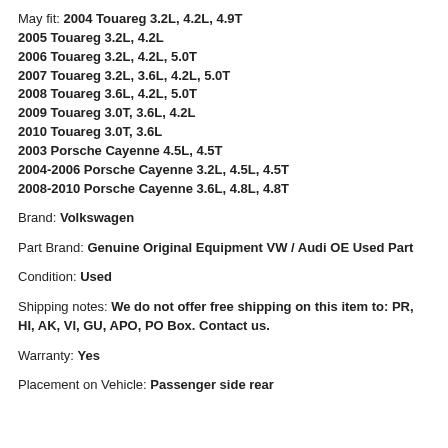May fit: 2004 Touareg 3.2L, 4.2L, 4.9T
2005 Touareg 3.2L, 4.2L
2006 Touareg 3.2L, 4.2L, 5.0T
2007 Touareg 3.2L, 3.6L, 4.2L, 5.0T
2008 Touareg 3.6L, 4.2L, 5.0T
2009 Touareg 3.0T, 3.6L, 4.2L
2010 Touareg 3.0T, 3.6L
2003 Porsche Cayenne 4.5L, 4.5T
2004-2006 Porsche Cayenne 3.2L, 4.5L, 4.5T
2008-2010 Porsche Cayenne 3.6L, 4.8L, 4.8T
Brand: Volkswagen
Part Brand: Genuine Original Equipment VW / Audi OE Used Part
Condition: Used
Shipping notes: We do not offer free shipping on this item to: PR, HI, AK, VI, GU, APO, PO Box. Contact us.
Warranty: Yes
Placement on Vehicle: Passenger side rear